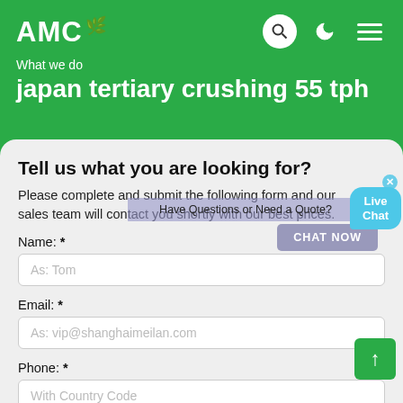AMC
What we do
japan tertiary crushing 55 tph
Tell us what you are looking for?
Please complete and submit the following form and our sales team will contact you shortly with our best prices.
Name: *
As: Tom
Email: *
As: vip@shanghaimeilan.com
Phone: *
With Country Code